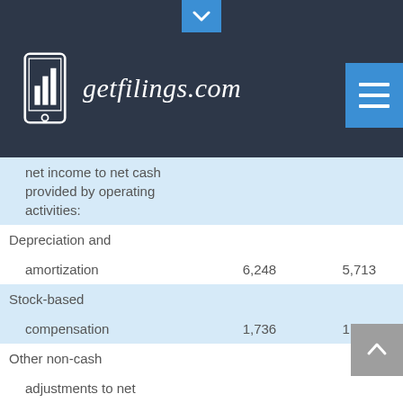[Figure (logo): getfilings.com logo with smartphone icon on dark background header]
| Description | Col1 | Col2 |
| --- | --- | --- |
| net income to net cash provided by operating activities: |  |  |
| Depreciation and amortization | 6,248 | 5,713 |
| Stock-based compensation | 1,736 | 1,703 |
| Other non-cash adjustments to net income | 161 | 96 |
| Changes in operating assets and liabilities: |  |  |
| Inventories, net | 25,087 | 31,342 |